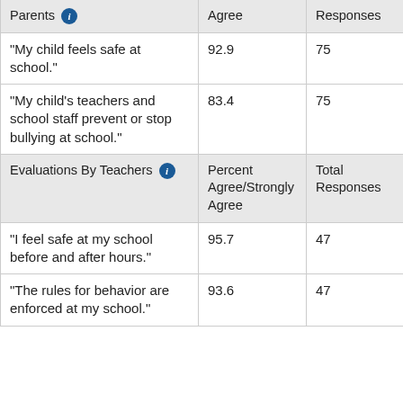| Parents | Percent Agree/Strongly Agree | Total Responses |
| --- | --- | --- |
| “My child feels safe at school.” | 92.9 | 75 |
| “My child’s teachers and school staff prevent or stop bullying at school.” | 83.4 | 75 |
| Evaluations By Teachers | Percent Agree/Strongly Agree | Total Responses |
| “I feel safe at my school before and after hours.” | 95.7 | 47 |
| “The rules for behavior are enforced at my school.” | 93.6 | 47 |